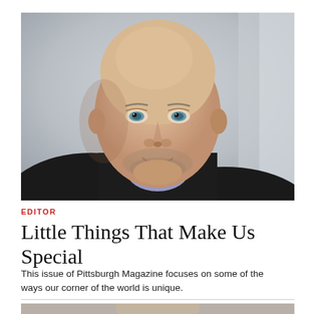[Figure (photo): Headshot portrait of a bald middle-aged man with blue-green eyes, a slight smile, stubble beard, wearing a dark blazer and light purple/lavender checked shirt, photographed against a soft grey background.]
EDITOR
Little Things That Make Us Special
This issue of Pittsburgh Magazine focuses on some of the ways our corner of the world is unique.
[Figure (photo): Partial photo visible at bottom of page, cropped.]